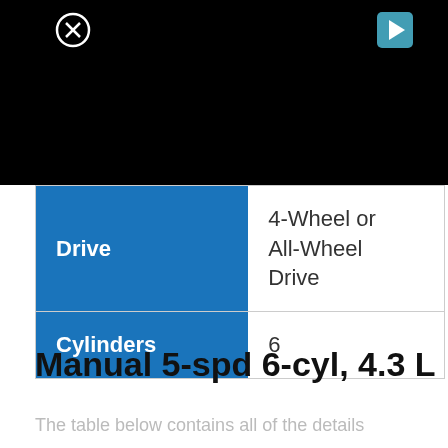[Figure (screenshot): Black video/media player area at top of page with a close (X) icon on the left and a play button icon on the right]
| Drive | 4-Wheel or All-Wheel Drive |
| Cylinders | 6 |
Manual 5-spd 6-cyl, 4.3 L
The table below contains all of the details